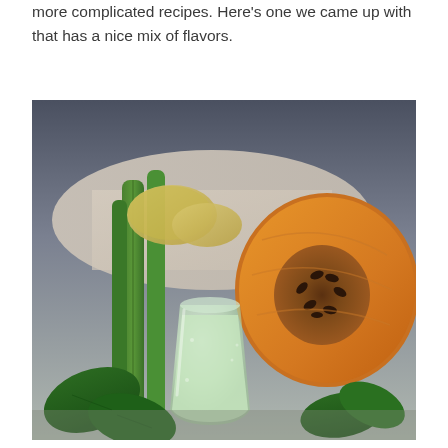more complicated recipes. Here's one we came up with that has a nice mix of flavors.
[Figure (photo): A photo showing a glass of green smoothie surrounded by celery, spinach leaves, a half cantaloupe melon showing seeds, and sliced ginger on a light cloth background.]